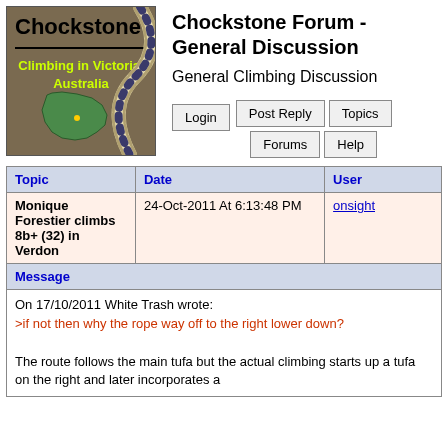[Figure (logo): Chockstone logo with rope image and Australia map. Text: Chockstone, Climbing in Victoria, Australia]
Chockstone Forum - General Discussion
General Climbing Discussion
| Topic | Date | User |
| --- | --- | --- |
| Monique Forestier climbs 8b+ (32) in Verdon | 24-Oct-2011 At 6:13:48 PM | onsight |
Message
On 17/10/2011 White Trash wrote:
>if not then why the rope way off to the right lower down?

The route follows the main tufa but the actual climbing starts up a tufa on the right and later incorporates a